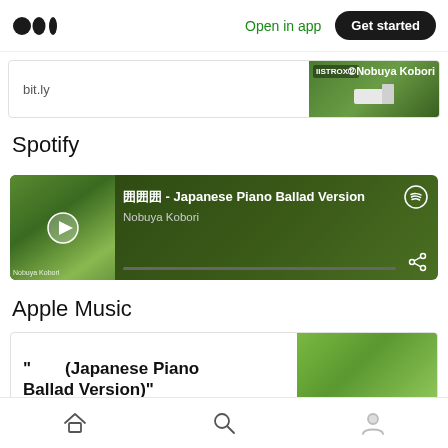Medium logo | Open in app | Get started
[Figure (screenshot): Link card showing bit.ly URL with thumbnail of Nobuya Kobori album art (green tree and house)]
Spotify
[Figure (screenshot): Spotify player embed showing track '囲囲囲 - Japanese Piano Ballad Version' by Nobuya Kobori with dark green background, play button, progress bar, and share icon]
Apple Music
[Figure (screenshot): Apple Music card showing '" 囲囲囲 (Japanese Piano Ballad Version)"' text on left and green tree thumbnail on right]
Home | Search | Profile navigation icons